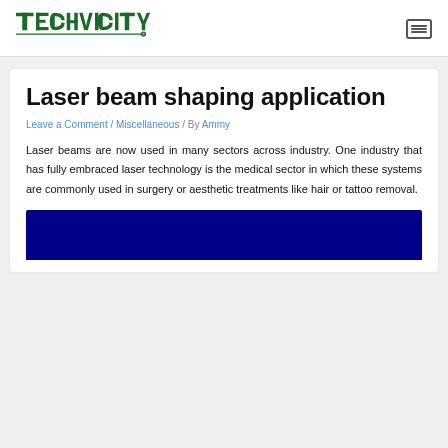TECHVICITY [logo]
Laser beam shaping application
Leave a Comment / Miscellaneous / By Ammy
Laser beams are now used in many sectors across industry. One industry that has fully embraced laser technology is the medical sector in which these systems are commonly used in surgery or aesthetic treatments like hair or tattoo removal.
[Figure (photo): Dark blue background image, bottom portion visible]